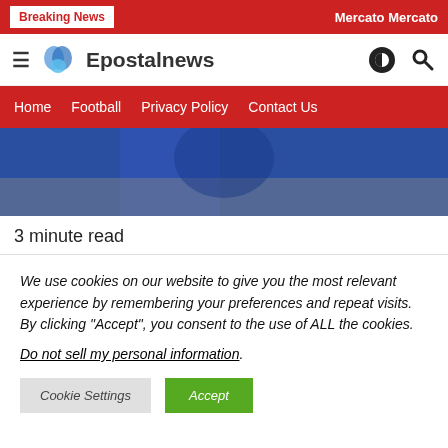Breaking News | Mercato Mercato
[Figure (logo): Epostalnews logo with hamburger menu, heart/teardrop icon in blue, site name, and icon buttons]
Home | Football | Privacy Policy | Contact Us
[Figure (photo): Person in blue jacket, blurred background, sports/football context]
3 minute read
We use cookies on our website to give you the most relevant experience by remembering your preferences and repeat visits. By clicking "Accept", you consent to the use of ALL the cookies.
Do not sell my personal information.
Cookie Settings | Accept